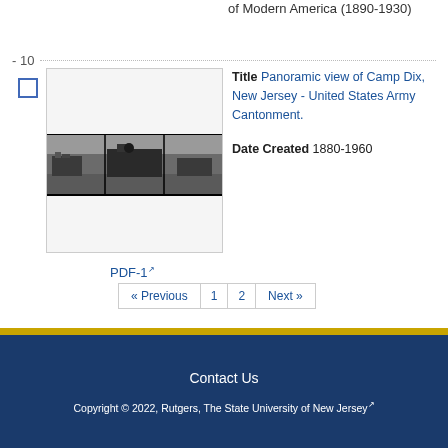of Modern America (1890-1930)
10
[Figure (photo): Thumbnail image of panoramic view of Camp Dix, New Jersey showing military cantonment buildings in a wide landscape format]
Title Panoramic view of Camp Dix, New Jersey - United States Army Cantonment.
Date Created 1880-1960
PDF-1
« Previous  1  2  Next »
Contact Us
Copyright © 2022, Rutgers, The State University of New Jersey